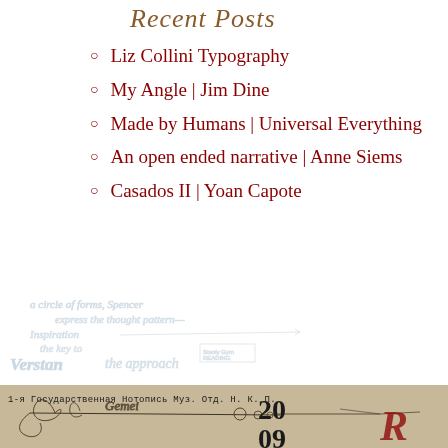Recent Posts
Liz Collini Typography
My Angle | Jim Dine
Made by Humans | Universal Everything
An open ended narrative | Anne Siems
Casados II | Yoan Capote
[Figure (illustration): Handwritten script/cursive text overlay in light blue ink on white background, partially legible cursive writing including words like 'a circle of forms', 'the thought', 'Verstau', 'the approach']
[Figure (illustration): Aged tan/sepia paper background with decorative pen/mechanical drawing elements and ornate flourishes, with Cyrillic text at bottom left reading '1-я Государственная Нотопись Муз. Отд. Н. К. П.' and year '2009']
1-я Государственная Нотопись Муз. Отд. Н. К. П.